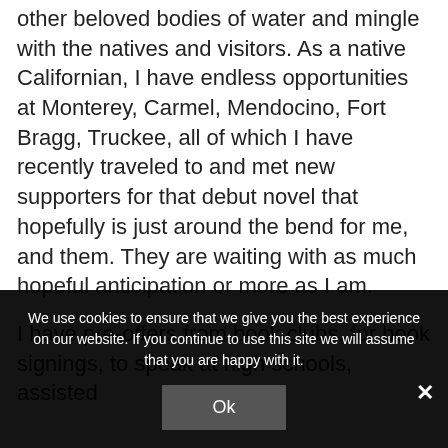other beloved bodies of water and mingle with the natives and visitors. As a native Californian, I have endless opportunities at Monterey, Carmel, Mendocino, Fort Bragg, Truckee, all of which I have recently traveled to and met new supporters for that debut novel that hopefully is just around the bend for me, and them. They are waiting with as much hopeful anticipation or more as I am.
I have pre-offers from book clubs, for book signings, to speak at high schools, assisted
We use cookies to ensure that we give you the best experience on our website. If you continue to use this site we will assume that you are happy with it.